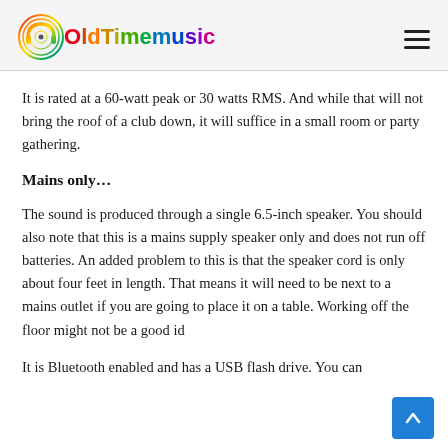OldTimemusic
It is rated at a 60-watt peak or 30 watts RMS. And while that will not bring the roof of a club down, it will suffice in a small room or party gathering.
Mains only…
The sound is produced through a single 6.5-inch speaker. You should also note that this is a mains supply speaker only and does not run off batteries. An added problem to this is that the speaker cord is only about four feet in length. That means it will need to be next to a mains outlet if you are going to place it on a table. Working off the floor might not be a good id
It is Bluetooth enabled and has a USB flash drive. You can